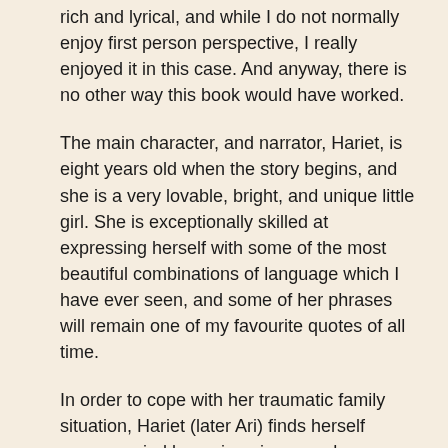rich and lyrical, and while I do not normally enjoy first person perspective, I really enjoyed it in this case. And anyway, there is no other way this book would have worked.
The main character, and narrator, Hariet, is eight years old when the story begins, and she is a very lovable, bright, and unique little girl. She is exceptionally skilled at expressing herself with some of the most beautiful combinations of language which I have ever seen, and some of her phrases will remain one of my favourite quotes of all time.
In order to cope with her traumatic family situation, Hariet (later Ari) finds herself accompanied by an imaginary seahorse named Jasper. And with the help of Jaspers, she is able to effectively navigate through certain difficult situations, as well as